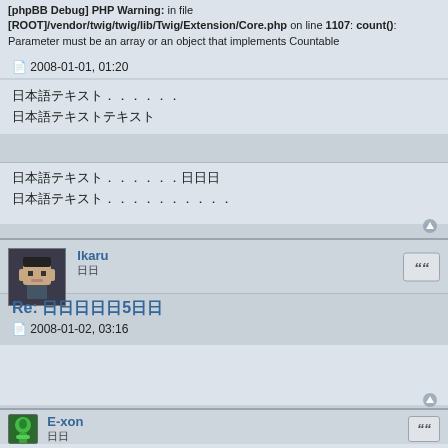[phpBB Debug] PHP Warning: in file [ROOT]/vendor/twig/twig/lib/Twig/Extension/Core.php on line 1107: count(): Parameter must be an array or an object that implements Countable
2008-01-01, 01:20
日本語テキスト…… / 日本語テキスト
日本語テキスト……日日日 / 日本語テキスト…………
Ikaru / 日日
Re: 日日日日日5日日
2008-01-02, 03:16
E-xon / 日日
[phpBB Debug] PHP Warning: in file [ROOT]/vendor/twig/twig/lib/Twig/Extension/Core.php on line 1107: count(): Parameter must be an array or an object that implements Countable
Re: 日日日日日5日日
2008-01-03, 16:26